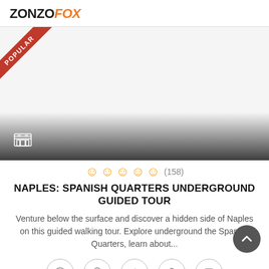ZONZOfox
[Figure (photo): Tour image placeholder with a 'POPULAR' red ribbon banner in the top-left corner and a dark gradient fade at the bottom with a small monument icon.]
☺ ☺ ☺ ☺ ☺ (158)
NAPLES: SPANISH QUARTERS UNDERGROUND GUIDED TOUR
Venture below the surface and discover a hidden side of Naples on this guided walking tour. Explore underground the Spanish Quarters, learn about...
[Figure (infographic): Row of 5 circular icon buttons at the bottom representing tour features (clock/time, location pin, audio/speaker, bag, metro/bus).]